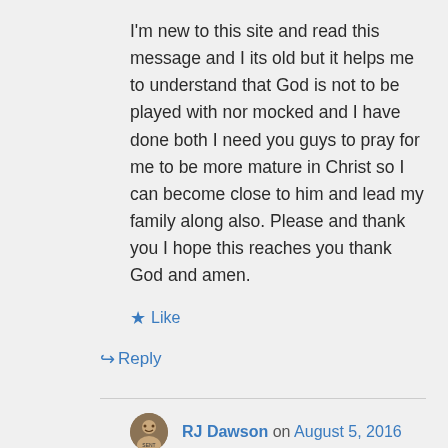I'm new to this site and read this message and I its old but it helps me to understand that God is not to be played with nor mocked and I have done both I need you guys to pray for me to be more mature in Christ so I can become close to him and lead my family along also. Please and thank you I hope this reaches you thank God and amen.
★ Like
↳ Reply
RJ Dawson on August 5, 2016